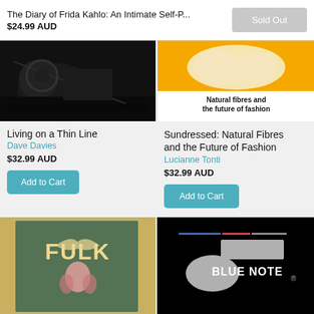The Diary of Frida Kahlo: An Intimate Self-P... $24.99 AUD
Sold Out
[Figure (photo): Black and white photo of a dark scene, left product image for Living on a Thin Line]
[Figure (photo): Book cover: Natural fibres and the future of fashion, yellow and cream design]
Living on a Thin Line
Dave Davies
$32.99 AUD
Add to Cart
Sundressed: Natural Fibres and the Future of Fashion
Lucianne Tonti
$32.99 AUD
Add to Cart
[Figure (photo): Book cover: FULK text with illustrated figures on vintage poster style background]
[Figure (photo): Black book cover with BLUE NOTE label logo and oval shape]